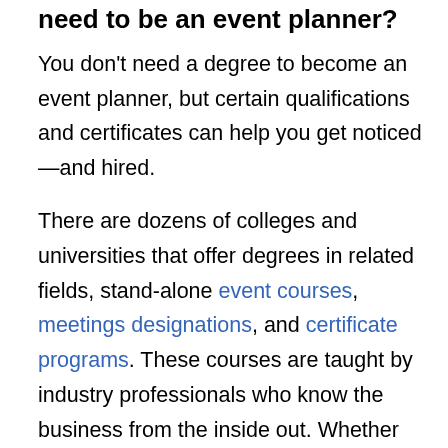need to be an event planner?
You don't need a degree to become an event planner, but certain qualifications and certificates can help you get noticed—and hired.
There are dozens of colleges and universities that offer degrees in related fields, stand-alone event courses, meetings designations, and certificate programs. These courses are taught by industry professionals who know the business from the inside out. Whether you pursue a degree in hospitality or take a few certificate programs, take advantage of every networking opportunity they offer.